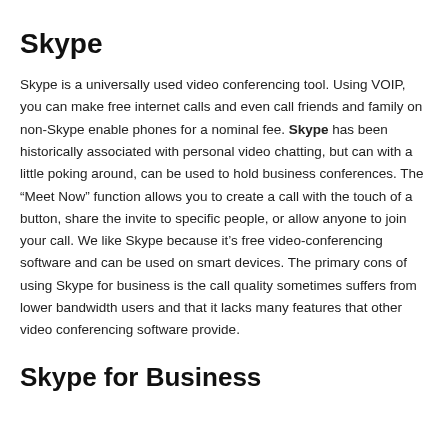Skype
Skype is a universally used video conferencing tool. Using VOIP, you can make free internet calls and even call friends and family on non-Skype enable phones for a nominal fee. Skype has been historically associated with personal video chatting, but can with a little poking around, can be used to hold business conferences. The “Meet Now” function allows you to create a call with the touch of a button, share the invite to specific people, or allow anyone to join your call. We like Skype because it’s free video-conferencing software and can be used on smart devices. The primary cons of using Skype for business is the call quality sometimes suffers from lower bandwidth users and that it lacks many features that other video conferencing software provide.
Skype for Business